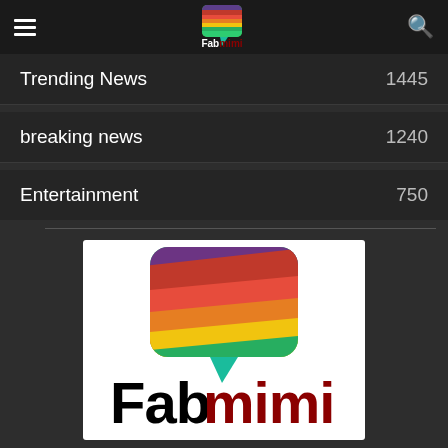Fabmimi (navigation header with hamburger menu and search icon)
Trending News 1445
breaking news 1240
Entertainment 750
[Figure (logo): Fabmimi logo: colorful layered diagonal stripes forming a rounded square chat bubble shape above the text Fabmimi in black and dark red bold letters]